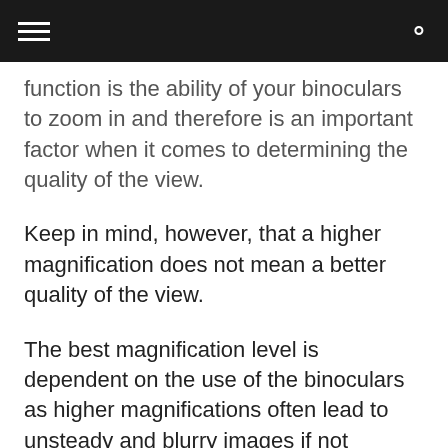[navigation bar with hamburger menu and search icon]
function is the ability of your binoculars to zoom in and therefore is an important factor when it comes to determining the quality of the view.
Keep in mind, however, that a higher magnification does not mean a better quality of the view.
The best magnification level is dependent on the use of the binoculars as higher magnifications often lead to unsteady and blurry images if not chosen wisely.
The trick is to choose a magnification level